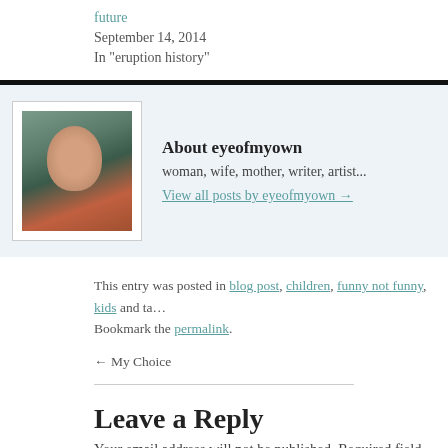future
September 14, 2014
In "eruption history"
[Figure (photo): Author photo of eyeofmyown, a woman smiling]
About eyeofmyown
woman, wife, mother, writer, artist...
View all posts by eyeofmyown →
This entry was posted in blog post, children, funny not funny, kids and ta… Bookmark the permalink.
← My Choice
Leave a Reply
Your email address will not be published. Required field…